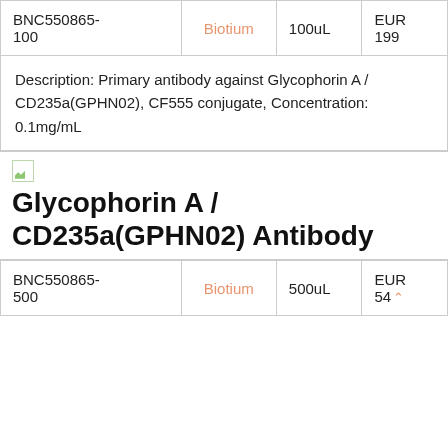| Ref | Brand | Volume | Price |
| --- | --- | --- | --- |
| BNC550865-100 | Biotium | 100uL | EUR 199 |
Description: Primary antibody against Glycophorin A / CD235a(GPHN02), CF555 conjugate, Concentration: 0.1mg/mL
Glycophorin A / CD235a(GPHN02) Antibody
| Ref | Brand | Volume | Price |
| --- | --- | --- | --- |
| BNC550865-500 | Biotium | 500uL | EUR 54 |